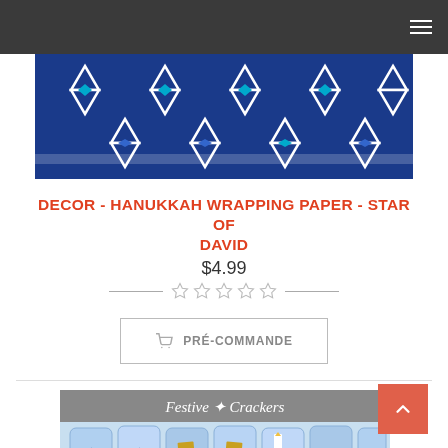Navigation bar with hamburger menu
[Figure (photo): Hanukkah wrapping paper with Star of David pattern in blue and white on a navy background]
DECOR - HANUKKAH WRAPPING PAPER - STAR OF DAVID
$4.99
[Figure (infographic): 5-star rating widget showing 0 out of 5 stars (all empty stars) with horizontal divider lines on each side]
PRÉ-COMMANDE
[Figure (photo): Festive Crackers product box showing Hanukkah-themed Christmas crackers with Star of David and menorah designs on a light blue background]